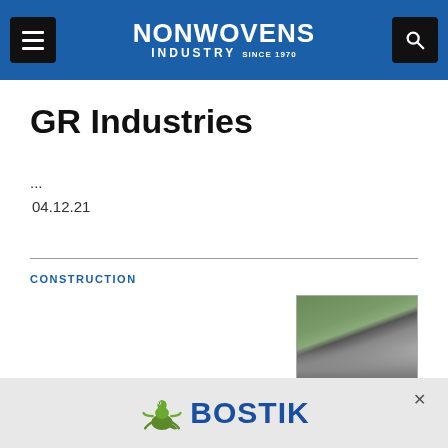NONWOVENS INDUSTRY
GR Industries
...
04.12.21
CONSTRUCTION
[Figure (photo): Hands placing a roofing/paving material tile on a surface, outdoor setting with green plants visible in background]
Roofing & Construction Market
[Figure (logo): Bostik advertisement banner with gecko logo and BOSTIK text in blue]